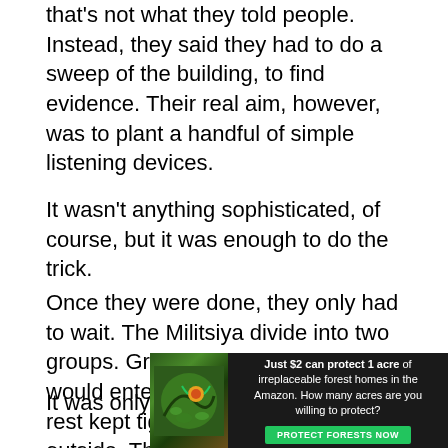that's not what they told people. Instead, they said they had to do a sweep of the building, to find evidence. Their real aim, however, was to plant a handful of simple listening devices.
It wasn't anything sophisticated, of course, but it was enough to do the trick.
Once they were done, they only had to wait. The Militsiya divide into two groups. Grandpa and a few others would enter the building, while the rest kept tight surveillance of the outside. The goal was either to catch the perpetrator inside the building or while he tried to flee the scene.
It was only a few hours after they had installed the
[Figure (infographic): Advertisement banner: dark background with forest/nature image on left showing colorful bird or animal in green foliage. Text reads: 'Just $2 can protect 1 acre of irreplaceable forest homes in the Amazon. How many acres are you willing to protect?' Green button at bottom reads 'PROTECT FORESTS NOW']